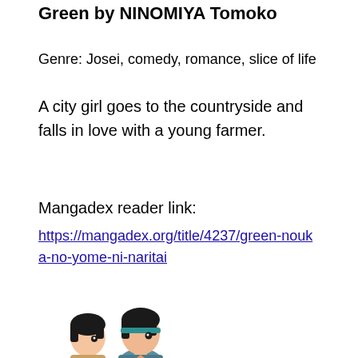Green by NINOMIYA Tomoko
Genre: Josei, comedy, romance, slice of life
A city girl goes to the countryside and falls in love with a young farmer.
Mangadex reader link:
https://mangadex.org/title/4237/green-nouka-no-yome-ni-naritai
[Figure (illustration): Two manga-style characters shown from head and shoulders, facing right. One has short dark hair, the other has dark hair with a teal headband.]